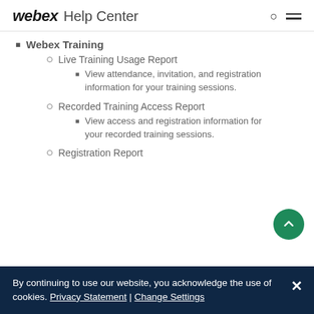webex Help Center
Webex Training
Live Training Usage Report
View attendance, invitation, and registration information for your training sessions.
Recorded Training Access Report
View access and registration information for your recorded training sessions.
Registration Report
By continuing to use our website, you acknowledge the use of cookies. Privacy Statement | Change Settings